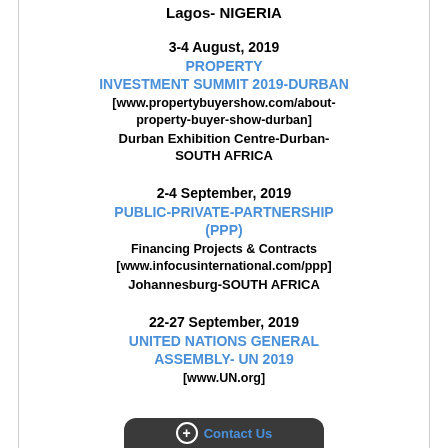Lagos- NIGERIA
3-4 August, 2019
PROPERTY INVESTMENT SUMMIT 2019-DURBAN
[www.propertybuyershow.com/about-property-buyer-show-durban]
Durban Exhibition Centre-Durban-SOUTH AFRICA
2-4 September, 2019
PUBLIC-PRIVATE-PARTNERSHIP (PPP)
Financing Projects & Contracts
[www.infocusinternational.com/ppp]
Johannesburg-SOUTH AFRICA
22-27 September, 2019
UNITED NATIONS GENERAL ASSEMBLY- UN 2019
[www.UN.org]
+ Contact Us